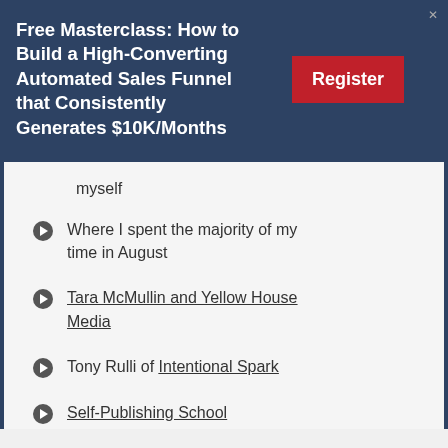Free Masterclass: How to Build a High-Converting Automated Sales Funnel that Consistently Generates $10K/Months
myself
Where I spent the majority of my time in August
Tara McMullin and Yellow House Media
Tony Rulli of Intentional Spark
Self-Publishing School